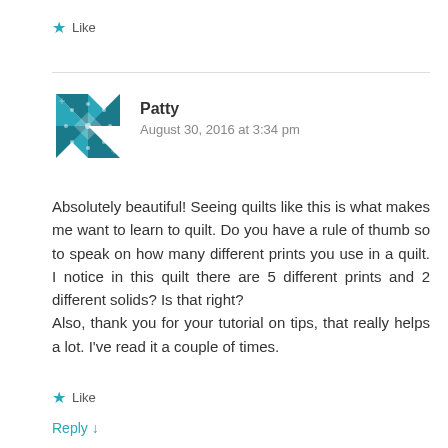★ Like
[Figure (illustration): Quilt pattern avatar icon in teal/dark teal geometric diamond pattern]
Patty
August 30, 2016 at 3:34 pm
Absolutely beautiful! Seeing quilts like this is what makes me want to learn to quilt. Do you have a rule of thumb so to speak on how many different prints you use in a quilt. I notice in this quilt there are 5 different prints and 2 different solids? Is that right?
Also, thank you for your tutorial on tips, that really helps a lot. I've read it a couple of times.
★ Like
Reply ↓